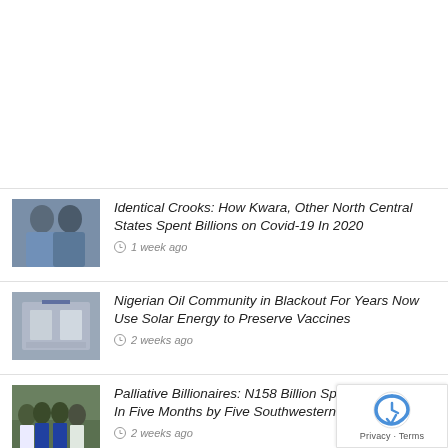[Figure (photo): Two men in traditional Nigerian attire (kaftans and caps) standing together]
Identical Crooks: How Kwara, Other North Central States Spent Billions on Covid-19 In 2020
1 week ago
[Figure (photo): Industrial or laboratory equipment, likely a solar-powered refrigeration unit]
Nigerian Oil Community in Blackout For Years Now Use Solar Energy to Preserve Vaccines
2 weeks ago
[Figure (photo): Group of men in Nigerian attire standing outdoors]
Palliative Billionaires: N158 Billion Spent on Covid-19 In Five Months by Five Southwestern States
2 weeks ago